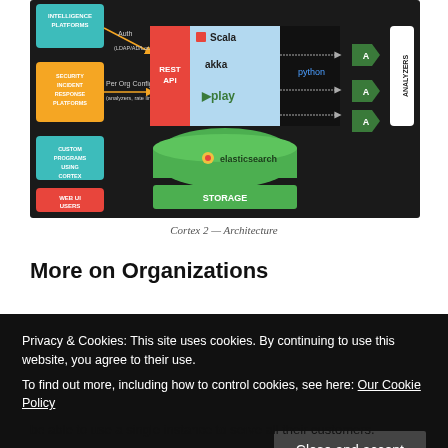[Figure (engineering-diagram): Cortex 2 architecture diagram showing client platforms (Intelligence Platforms, Security Incident Response Platforms, Custom Programs Using Cortex, Web UI Users) connecting via Auth/LDAP/AD/Local/API Keys and Per Org Config through a REST API built on Scala/Akka/Play, with Python analyzers and Elasticsearch storage.]
Cortex 2 — Architecture
More on Organizations
Privacy & Cookies: This site uses cookies. By continuing to use this website, you agree to their use.
To find out more, including how to control cookies, see here: Our Cookie Policy
be able to use a single instance to serve all their customers.